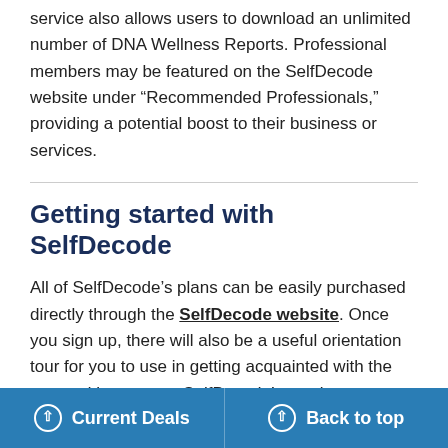service also allows users to download an unlimited number of DNA Wellness Reports. Professional members may be featured on the SelfDecode website under “Recommended Professionals,” providing a potential boost to their business or services.
Getting started with SelfDecode
All of SelfDecode’s plans can be easily purchased directly through the SelfDecode website. Once you sign up, there will also be a useful orientation tour for you to use in getting acquainted with the app and how to use SelfDecode’s services.
If you already have genetic d...
Current Deals   Back to top